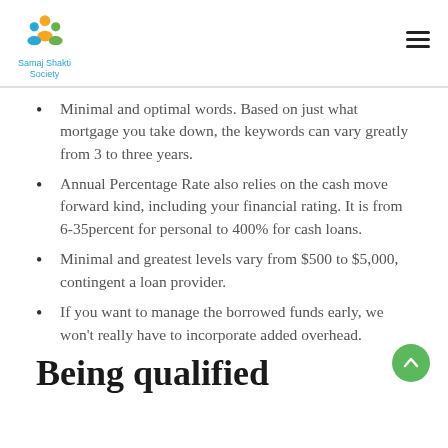Samaj Shakti Society
Minimal and optimal words. Based on just what mortgage you take down, the keywords can vary greatly from 3 to three years.
Annual Percentage Rate also relies on the cash move forward kind, including your financial rating. It is from 6-35percent for personal to 400% for cash loans.
Minimal and greatest levels vary from $500 to $5,000, contingent a loan provider.
If you want to manage the borrowed funds early, we won't really have to incorporate added overhead.
Being qualified